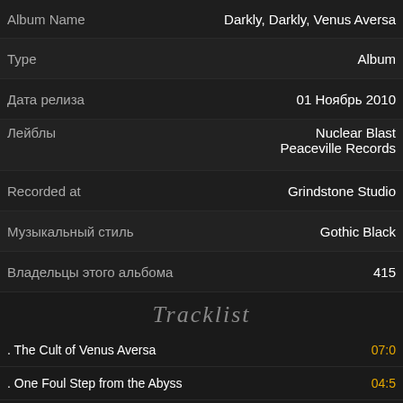| Field | Value |
| --- | --- |
| Album Name | Darkly, Darkly, Venus Aversa |
| Type | Album |
| Дата релиза | 01 Ноябрь 2010 |
| Лейблы | Nuclear Blast / Peaceville Records |
| Recorded at | Grindstone Studio |
| Музыкальный стиль | Gothic Black |
| Владельцы этого альбома | 415 |
Tracklist
The Cult of Venus Aversa  07:0
One Foul Step from the Abyss  04:5
The Nun with the Astral Habit  04:5
Retreat of the Sacred Heart  03:5